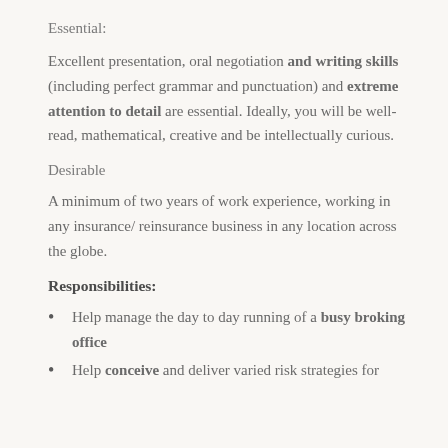Essential:
Excellent presentation, oral negotiation and writing skills (including perfect grammar and punctuation) and extreme attention to detail are essential. Ideally, you will be well-read, mathematical, creative and be intellectually curious.
Desirable
A minimum of two years of work experience, working in any insurance/ reinsurance business in any location across the globe.
Responsibilities:
Help manage the day to day running of a busy broking office
Help conceive and deliver varied risk strategies for